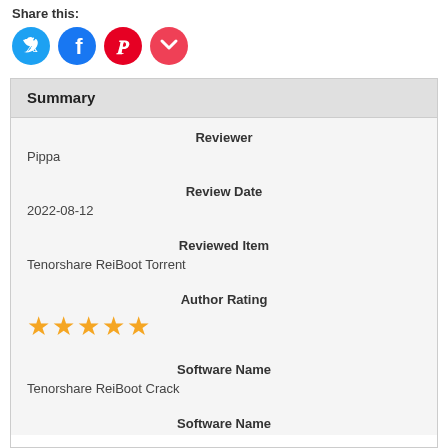Share this:
[Figure (illustration): Four social media share icons: Twitter (blue circle), Facebook (blue circle), Pinterest (red circle), Pocket (pink/red circle)]
| Summary |
| --- |
| Reviewer |  |
| Pippa |  |
| Review Date |  |
| 2022-08-12 |  |
| Reviewed Item |  |
| Tenorshare ReiBoot Torrent |  |
| Author Rating |  |
| ★★★★★ |  |
| Software Name |  |
| Tenorshare ReiBoot Crack |  |
| Software Name |  |